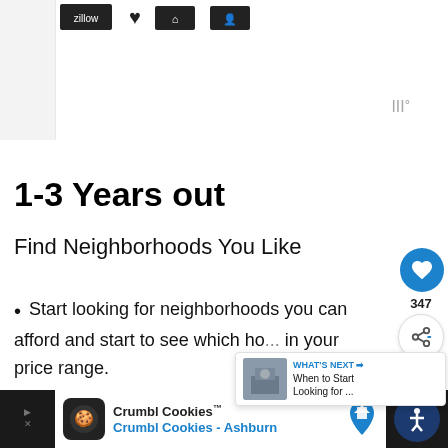[Figure (screenshot): Top navigation bar with icons including Zillow logo and other service icons, partially visible]
1-3 Years out
Find Neighborhoods You Like
Start looking for neighborhoods you can afford and start to see which homes are in your price range.
[Figure (infographic): What's Next overlay with thumbnail: When to Start Looking for ...]
[Figure (screenshot): Crumbl Cookies advertisement banner at the bottom of the page]